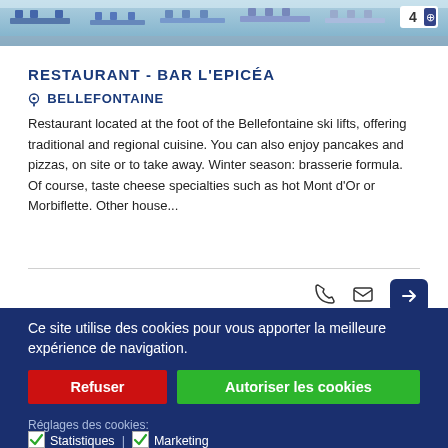[Figure (photo): Top portion of restaurant interior photo showing chairs and tables with blue sky/snow background]
RESTAURANT - BAR L'EPICÉA
📍 BELLEFONTAINE
Restaurant located at the foot of the Bellefontaine ski lifts, offering traditional and regional cuisine. You can also enjoy pancakes and pizzas, on site or to take away. Winter season: brasserie formula. Of course, taste cheese specialties such as hot Mont d'Or or Morbiflette. Other house...
Ce site utilise des cookies pour vous apporter la meilleure expérience de navigation.
Refuser
Autoriser les cookies
Réglages des cookies:
✅ Statistiques | ✅ Marketing